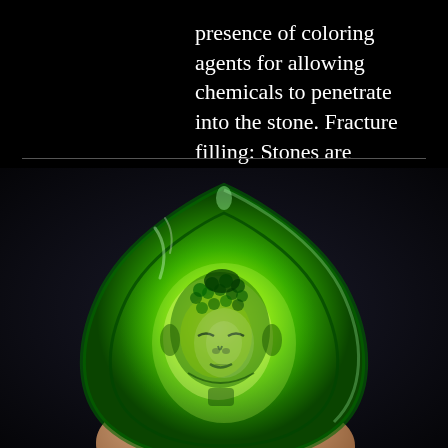presence of coloring agents for allowing chemicals to penetrate into the stone. Fracture filling: Stones are
[Figure (photo): A bright vivid green jade stone carved into a teardrop/spade shape with a Buddha face relief carved into it, held between two fingers against a dark background. The jade glows intensely green with bright light shining through it.]